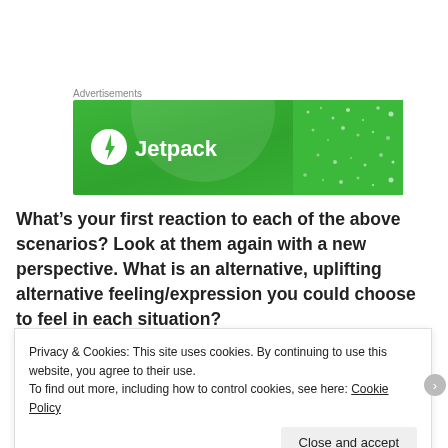[Figure (other): Jetpack advertisement banner with green background and Jetpack logo and text]
What’s your first reaction to each of the above scenarios? Look at them again with a new perspective. What is an alternative, uplifting alternative feeling/expression you could choose to feel in each situation?
How you traverse the mountains of change reveals how you cope
Privacy & Cookies: This site uses cookies. By continuing to use this website, you agree to their use.
To find out more, including how to control cookies, see here: Cookie Policy